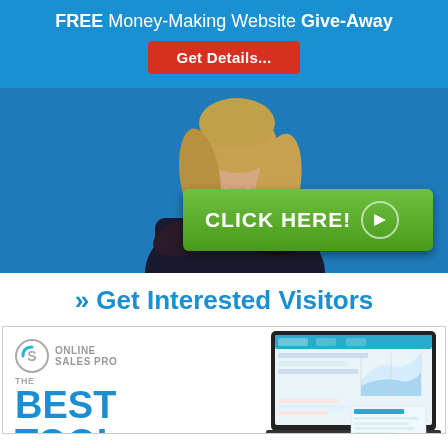FREE Money-Making Website Give-Away
Get Details...
[Figure (photo): Woman in business suit with arms crossed, blue background, with a green CLICK HERE button with arrow icon]
» Get Interested Visitors
[Figure (screenshot): Online Sales Pro logo with THE BEST TOOL FOR text and a screenshot of a dashboard interface]